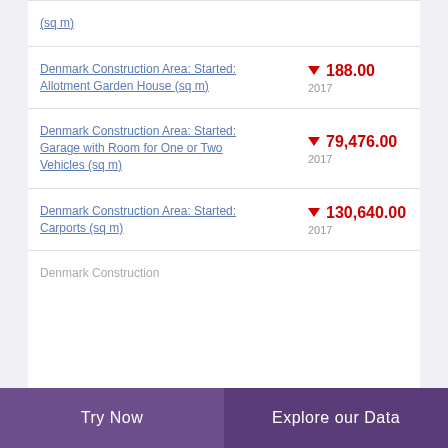(sq m)
Denmark Construction Area: Started: Allotment Garden House (sq m) ▼ 188.00 2017
Denmark Construction Area: Started: Garage with Room for One or Two Vehicles (sq m) ▼ 79,476.00 2017
Denmark Construction Area: Started: Carports (sq m) ▼ 130,640.00 2017
Denmark Construction
Try Now   Explore our Data